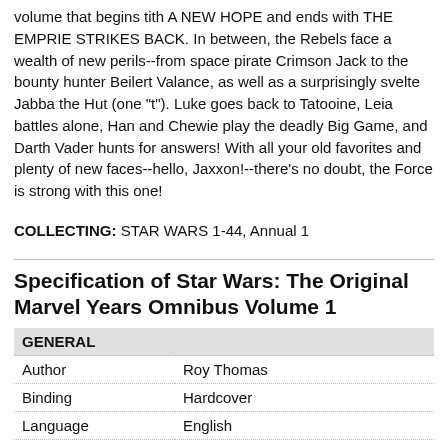volume that begins tith A NEW HOPE and ends with THE EMPRIE STRIKES BACK. In between, the Rebels face a wealth of new perils--from space pirate Crimson Jack to the bounty hunter Beilert Valance, as well as a surprisingly svelte Jabba the Hut (one "t"). Luke goes back to Tatooine, Leia battles alone, Han and Chewie play the deadly Big Game, and Darth Vader hunts for answers! With all your old favorites and plenty of new faces--hello, Jaxxon!--there's no doubt, the Force is strong with this one!
COLLECTING: STAR WARS 1-44, Annual 1
Specification of Star Wars: The Original Marvel Years Omnibus Volume 1
| GENERAL |
| --- |
| Author | Roy Thomas |
| Binding | Hardcover |
| Language | English |
| Edition | 1st |
| ISBN-10 | 0785191062 |
| ISBN-13 | 9780785191063 |
| Publisher | Marvel |
| Publication Date | 2015 |